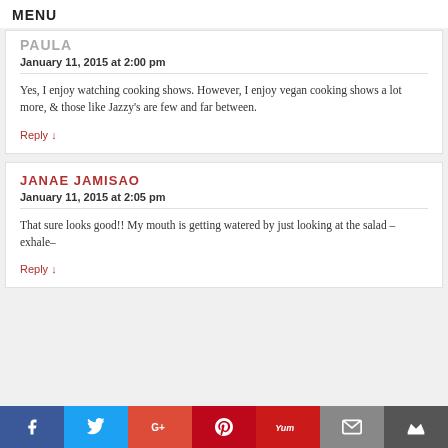MENU
PAULA
January 11, 2015 at 2:00 pm
Yes, I enjoy watching cooking shows. However, I enjoy vegan cooking shows a lot more, & those like Jazzy's are few and far between.
Reply ↓
JANAE JAMISAO
January 11, 2015 at 2:05 pm
That sure looks good!! My mouth is getting watered by just looking at the salad –exhale–
Reply ↓